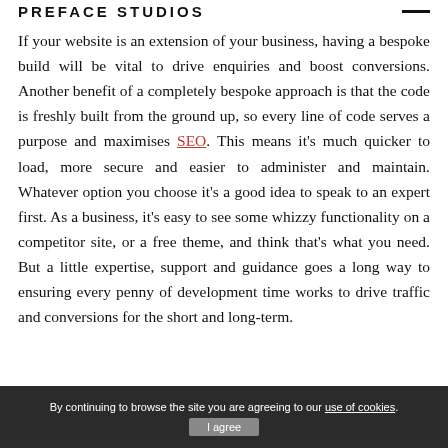PREFACE STUDIOS
If your website is an extension of your business, having a bespoke build will be vital to drive enquiries and boost conversions. Another benefit of a completely bespoke approach is that the code is freshly built from the ground up, so every line of code serves a purpose and maximises SEO. This means it's much quicker to load, more secure and easier to administer and maintain. Whatever option you choose it's a good idea to speak to an expert first. As a business, it's easy to see some whizzy functionality on a competitor site, or a free theme, and think that's what you need. But a little expertise, support and guidance goes a long way to ensuring every penny of development time works to drive traffic and conversions for the short and long-term.
Preface Studios specialises in bespoke website
By continuing to browse the site you are agreeing to our use of cookies. I agree